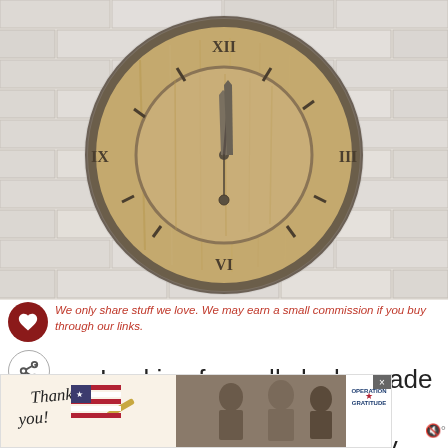[Figure (photo): Large rustic wooden wall clock with Roman numerals and gray metal frame, mounted on a white brick wall. The clock face is natural wood with dark metal Roman numeral markers and clock hands showing approximately 12:02.]
We only share stuff we love. We may earn a small commission if you buy through our links.
Looking for wall clocks made in USA? You be surprised at how many people write to us on our contact form, our
WHAT'S NEXT → Made in USA Clocks: A...
[Figure (photo): Advertisement banner: Thank you military personnel - Operation Gratitude advertisement with handwritten thank you note, American flag motif, soldiers image, and Operation Gratitude logo.]